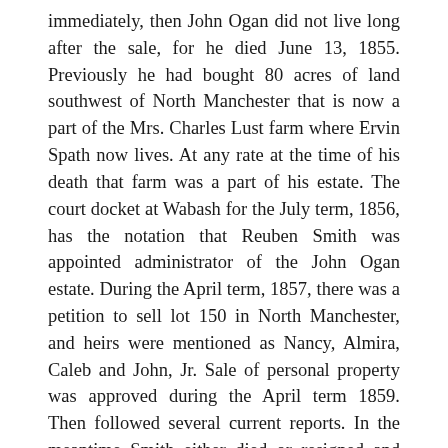immediately, then John Ogan did not live long after the sale, for he died June 13, 1855. Previously he had bought 80 acres of land southwest of North Manchester that is now a part of the Mrs. Charles Lust farm where Ervin Spath now lives. At any rate at the time of his death that farm was a part of his estate. The court docket at Wabash for the July term, 1856, has the notation that Reuben Smith was appointed administrator of the John Ogan estate. During the April term, 1857, there was a petition to sell lot 150 in North Manchester, and heirs were mentioned as Nancy, Almira, Caleb and John, Jr. Sale of personal property was approved during the April term 1859. Then followed several current reports. In the meantime Smith either died or resigned and Augustus A. Peabody was appointed administrator. On June 6, 1861, he petitioned court to sell the